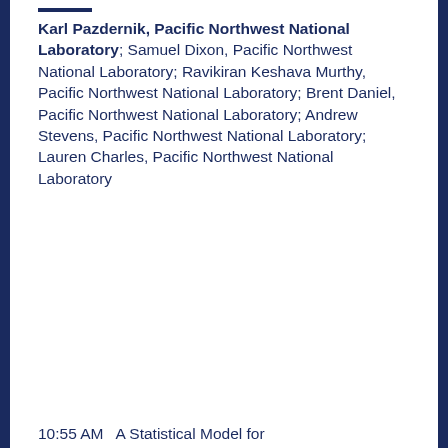Karl Pazdernik, Pacific Northwest National Laboratory; Samuel Dixon, Pacific Northwest National Laboratory; Ravikiran Keshava Murthy, Pacific Northwest National Laboratory; Brent Daniel, Pacific Northwest National Laboratory; Andrew Stevens, Pacific Northwest National Laboratory; Lauren Charles, Pacific Northwest National Laboratory
10:55 AM  A Statistical Model for